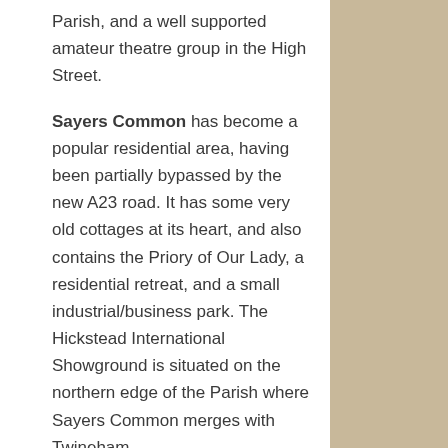Parish, and a well supported amateur theatre group in the High Street.
Sayers Common has become a popular residential area, having been partially bypassed by the new A23 road. It has some very old cottages at its heart, and also contains the Priory of Our Lady, a residential retreat, and a small industrial/business park. The Hickstead International Showground is situated on the northern edge of the Parish where Sayers Common merges with Twineham.
Goddards Green boasts The Sportsman public house. Formerly